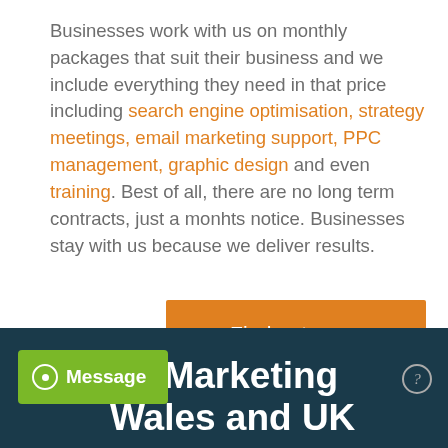Businesses work with us on monthly packages that suit their business and we include everything they need in that price including search engine optimisation, strategy meetings, email marketing support, PPC management, graphic design and even training. Best of all, there are no long term contracts, just a monhts notice. Businesses stay with us because we deliver results.
Find out more
tal Marketing Wales and UK
Message